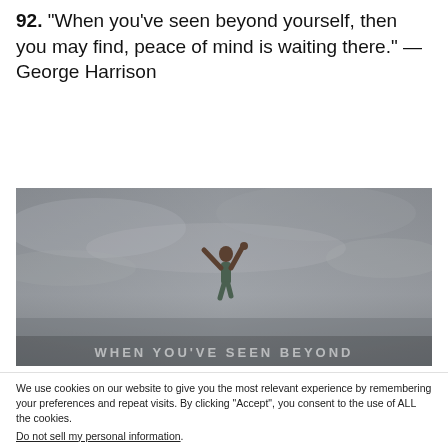92. "When you've seen beyond yourself, then you may find, peace of mind is waiting there." — George Harrison
[Figure (photo): Photo of a person jumping or falling against a grey cloudy sky, with partially visible text overlay at the bottom reading 'WHEN YOU'VE SEEN BEYOND']
We use cookies on our website to give you the most relevant experience by remembering your preferences and repeat visits. By clicking "Accept", you consent to the use of ALL the cookies.
Do not sell my personal information.
Cookie settings   ACCEPT